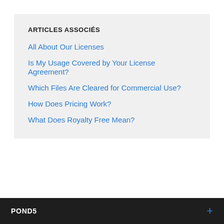ARTICLES ASSOCIÉS
All About Our Licenses
Is My Usage Covered by Your License Agreement?
Which Files Are Cleared for Commercial Use?
How Does Pricing Work?
What Does Royalty Free Mean?
POND5   +